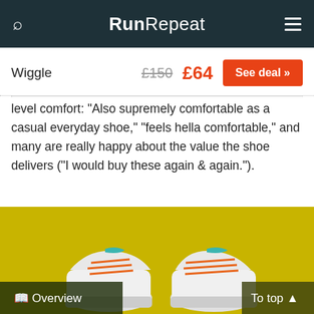RunRepeat
Wiggle  £150  £64  See deal »
level comfort: "Also supremely comfortable as a casual everyday shoe," "feels hella comfortable," and many are really happy about the value the shoe delivers ("I would buy these again & again.").
[Figure (photo): Top-down view of a pair of running shoes with orange laces on a bright yellow background. The shoes are white with teal accents.]
Overview    To top ▲